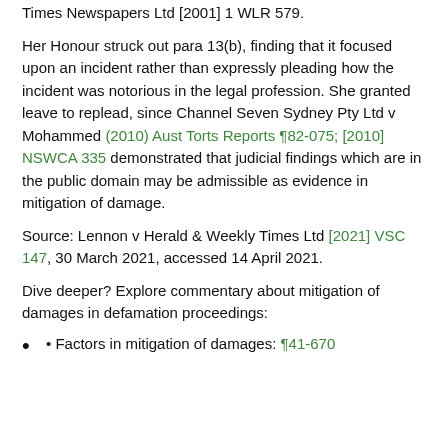Times Newspapers Ltd [2001] 1 WLR 579.
Her Honour struck out para 13(b), finding that it focused upon an incident rather than expressly pleading how the incident was notorious in the legal profession. She granted leave to replead, since Channel Seven Sydney Pty Ltd v Mohammed (2010) Aust Torts Reports ¶82-075; [2010] NSWCA 335 demonstrated that judicial findings which are in the public domain may be admissible as evidence in mitigation of damage.
Source: Lennon v Herald & Weekly Times Ltd [2021] VSC 147, 30 March 2021, accessed 14 April 2021.
Dive deeper? Explore commentary about mitigation of damages in defamation proceedings:
• Factors in mitigation of damages: ¶41-670